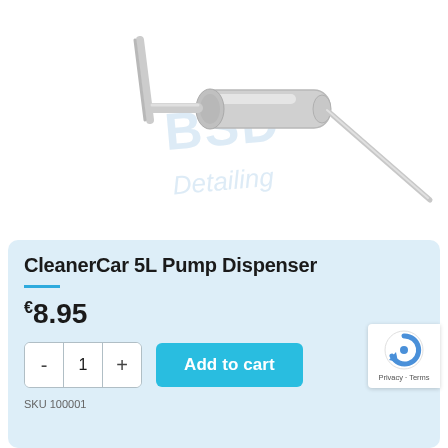[Figure (photo): CleanerCar 5L pump dispenser product image — a grey plastic pump dispenser nozzle/tube assembly on white background with a watermark logo reading 'BSD Detailing']
CleanerCar 5L Pump Dispenser
€8.95
Add to cart
SKU 100001